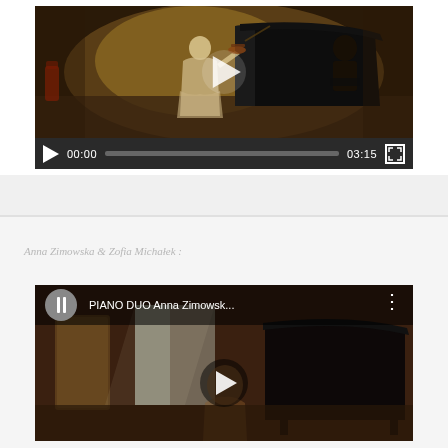[Figure (screenshot): Video player showing a violinist performing with a pianist in a concert hall. Controls show 00:00 timestamp and 03:15 total duration with a progress bar.]
Anna Zimowska & Zofia Michałek :
[Figure (screenshot): YouTube video thumbnail showing PIANO DUO Anna Zimowsk... with a pianist in a room with a grand piano. Play button visible.]